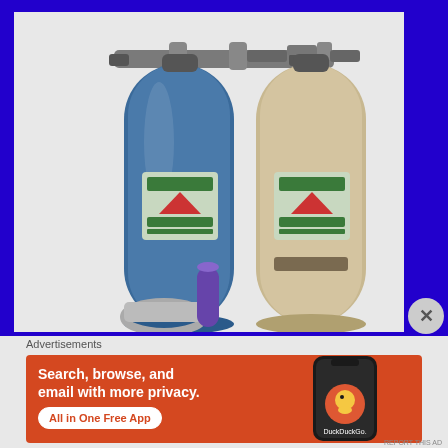[Figure (photo): Two cylindrical water filter canisters connected at the top by pipe fittings. The left canister is blue and the right is beige/cream colored. Both have diamond-shaped labels in the middle. Small plumbing connectors visible at top. A small purple cylindrical object visible in the foreground center.]
Advertisements
[Figure (screenshot): DuckDuckGo advertisement banner with orange background. Left side shows text 'Search, browse, and email with more privacy.' with a white pill-shaped button reading 'All in One Free App'. Right side shows a dark smartphone displaying the DuckDuckGo logo and app icon.]